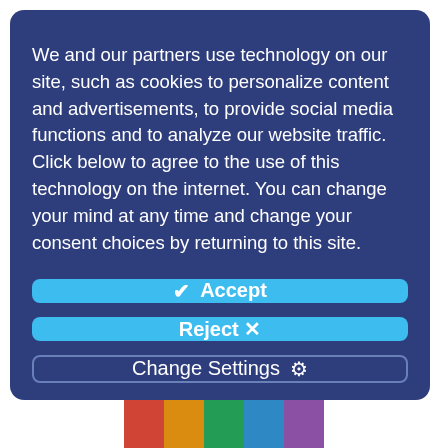We and our partners use technology on our site, such as cookies to personalize content and advertisements, to provide social media functions and to analyze our website traffic. Click below to agree to the use of this technology on the internet. You can change your mind at any time and change your consent choices by returning to this site.
✔ Accept
Reject ✕
Change Settings ⚙
[Figure (photo): Colorful photo partially visible at the bottom of the page]